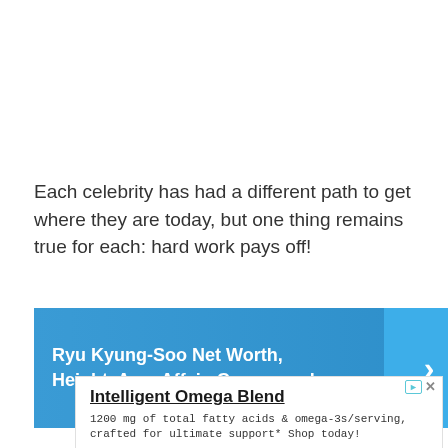Each celebrity has had a different path to get where they are today, but one thing remains true for each: hard work pays off!
[Figure (other): Navigation banner with blue gradient background showing text 'Ryu Kyung-Soo Net Worth, Height, Age, Affair, Career, and ...' with a right-arrow button on the right side]
[Figure (other): Advertisement for Enzymedica Intelligent Omega Blend supplement. Text: '1200 mg of total fatty acids & omega-3s/serving, crafted for ultimate support* Shop today!' with a 'Shop Now' button.]